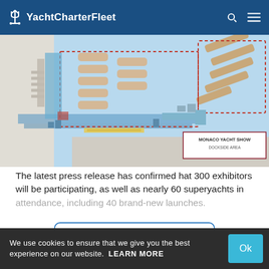YachtCharterFleet
[Figure (map): Monaco Yacht Show dockside area map showing marina layout with boat berths, dashed red boundary lines marking the show area, and a legend box reading 'MONACO YACHT SHOW DOCKSIDE AREA']
The latest press release has confirmed hat 300 exhibitors will be participating, as well as nearly 60 superyachts in attendance, including 40 brand-new launches.
READ MORE
We use cookies to ensure that we give you the best experience on our website. LEARN MORE Ok